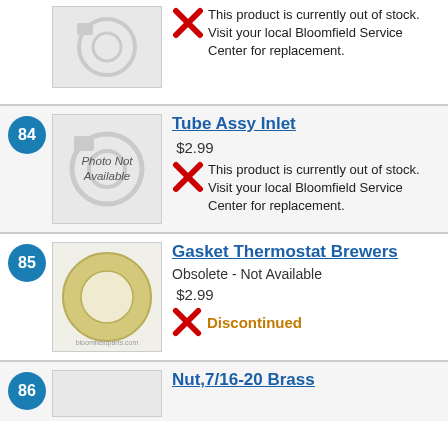[Figure (photo): Photo Not Available placeholder image for product above item 84]
This product is currently out of stock. Visit your local Bloomfield Service Center for replacement.
84
[Figure (photo): Photo Not Available placeholder image for item 84 Tube Assy Inlet]
Tube Assy Inlet
$2.99
This product is currently out of stock. Visit your local Bloomfield Service Center for replacement.
85
[Figure (photo): Photo of Gasket Thermostat Brewers - yellow/cream colored ring gasket]
Gasket Thermostat Brewers
Obsolete - Not Available
$2.99
Discontinued
86
Nut,7/16-20 Brass